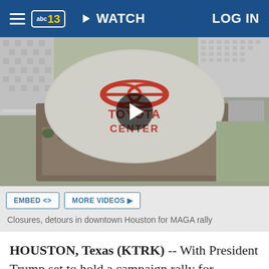abc13 | WATCH | LOG IN
[Figure (photo): Aerial photograph of Toyota Center arena in downtown Houston, showing the circular roof with Toyota Center logo and surrounding urban area. A video play button overlay is centered on the image.]
Closures, detours in downtown Houston for MAGA rally
HOUSTON, Texas (KTRK) -- With President Trump set to hold a campaign rally for Republican Sen. Ted Cruz at Toyota Center today, Houston police say full